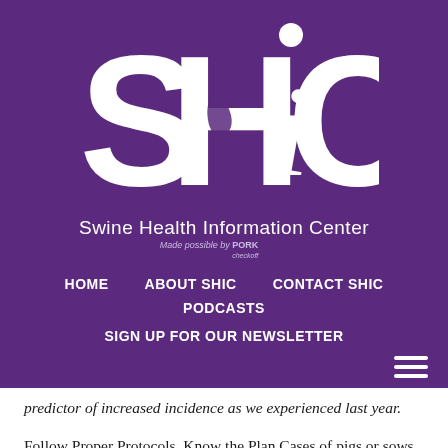[Figure (logo): SHIC logo - large white letters SHiC on purple background with a pig silhouette integrated into the design]
Swine Health Information Center
Made possible by pork checkoff
HOME   ABOUT SHIC   CONTACT SHIC   PODCASTS   SIGN UP FOR OUR NEWSLETTER
predictor of increased incidence as we experienced last year.
Follow Proper Protocols, Know the Plan Cases of pigs or sows with vesicles are now showing up at packing plants. U.S. packing plants must continue to be able to operate normally with the number of pigs and sows being processed every day. Vesicular lesions in pigs or sows ready for marketing should be investigated, and if possible, the lesions should be allowed to resolve before shipping. If that isn't possible, communication between the